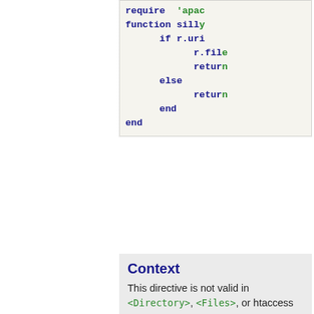require 'apac
function silly
    if r.uri
        r.fil
        retur
    else
        retur
    end
end
Context
This directive is not valid in <Directory>, <Files>, or htaccess context.
Ordering
The optional arguments "early" or "late" control when this script runs relative to other